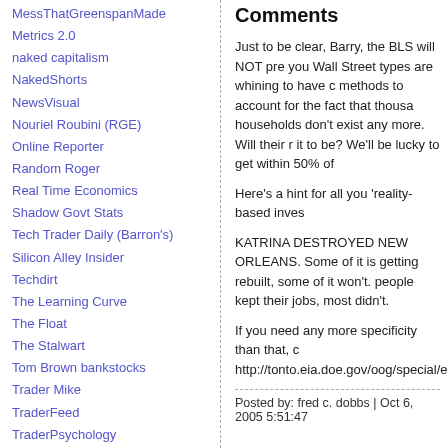MessThatGreenspanMade
Metrics 2.0
naked capitalism
NakedShorts
NewsVisual
Nouriel Roubini (RGE)
Online Reporter
Random Roger
Real Time Economics
Shadow Govt Stats
Tech Trader Daily (Barron's)
Silicon Alley Insider
Techdirt
The Learning Curve
The Float
The Stalwart
Tom Brown bankstocks
Trader Mike
TraderFeed
TraderPsychology
Trend Following
vox EU
Wallstrip
WSW
Comments
Just to be clear, Barry, the BLS will NOT pre- you Wall Street types are whining to have c methods to account for the fact that thousa households don't exist any more. Will their  it to be? We'll be lucky to get within 50% of
Here's a hint for all you 'reality-based inves
KATRINA DESTROYED NEW ORLEANS. Some of it is getting rebuilt, some of it won't people kept their jobs, most didn't.
If you need any more specificity than that, c http://tonto.eia.doe.gov/oog/special/eia1_ka
Posted by: fred c. dobbs | Oct 6, 2005 5:51:47
The comments to this entry are closed.